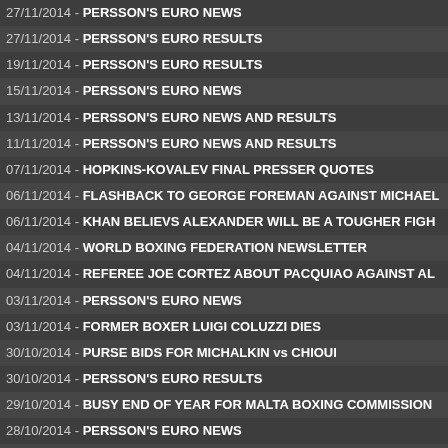27/11/2014 - PERSSON'S EURO NEWS
27/11/2014 - PERSSON'S EURO RESULTS
19/11/2014 - PERSSON'S EURO RESULTS
15/11/2014 - PERSSON'S EURO NEWS
13/11/2014 - PERSSON'S EURO NEWS AND RESULTS
11/11/2014 - PERSSON'S EURO NEWS AND RESULTS
07/11/2014 - HOPKINS-KOVALEV FINAL PRESSER QUOTES
06/11/2014 - FLASHBACK TO GEORGE FOREMAN AGAINST MICHAEL
06/11/2014 - KHAN BELIEVS ALEXANDER WILL BE A TOUGHER FIGH
04/11/2014 - WORLD BOXING FEDERATION NEWSLETTER
04/11/2014 - REFEREE JOE CORTEZ ABOUT PACQUIAO AGAINST AL
03/11/2014 - PERSSON'S EURO NEWS
03/11/2014 - FORMER BOXER LUIGI COLUZZI DIES
30/10/2014 - PURSE BIDS FOR MICHALKIN vs CHIOUI
30/10/2014 - PERSSON'S EURO RESULTS
29/10/2014 - BUSY END OF YEAR FOR MALTA BOXING COMMISSION
28/10/2014 - PERSSON'S EURO NEWS
28/10/2014 - MARSTON REIGNS VICTORIOUS, OZGUL & COUNIHAN IM
27/10/2014 - MARSTON BEATES GULYAS TO SECURE MBC INT'L BEL
24/10/2014 - MARSTON vs GULYAS WEIGHTS & QUOTES FROM LOND
23/10/2014 - PERSSON'S EURO NEWS AND RESULTS
23/10/2014 - STARS LIMITLESS & EX CHAMP HAMILTON THIS SATURD
22/10/2014 - DEAKIN OUT, STULGINSKAS IN FOR ALEXANDER THIS S
21/10/2014 - DECASTRO MAKES HIS THIRD OUTING 25TH OCTOBER
21/10/2014 - MARSTON RECEIVES AN INVITATION TO CHALLENGE OV
20/10/2014 - WORLD BOXING FEDERATION NEWSLETTER
20/10/2014 - CAPITAL PUNISHMENT IN BETHNAL GREEN 25TH OCTO